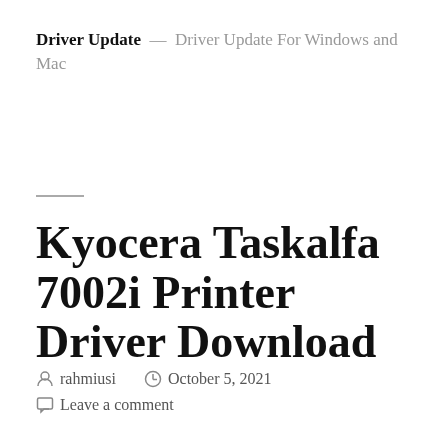Driver Update — Driver Update For Windows and Mac
Kyocera Taskalfa 7002i Printer Driver Download
rahmiusi   October 5, 2021   Leave a comment